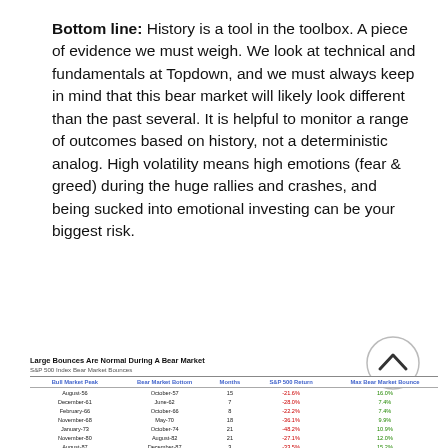Bottom line: History is a tool in the toolbox. A piece of evidence we must weigh. We look at technical and fundamentals at Topdown, and we must always keep in mind that this bear market will likely look different than the past several. It is helpful to monitor a range of outcomes based on history, not a deterministic analog. High volatility means high emotions (fear & greed) during the huge rallies and crashes, and being sucked into emotional investing can be your biggest risk.
| Bull Market Peak | Bear Market Bottom | Months | S&P 500 Return | Max Bear Market Bounce |
| --- | --- | --- | --- | --- |
| August-56 | October-57 | 15 | -21.6% | 16.0% |
| December-61 | June-62 | 7 | -28.0% | 7.4% |
| February-66 | October-66 | 8 | -22.2% | 7.4% |
| November-68 | May-70 | 18 | -36.1% | 9.9% |
| January-73 | October-74 | 21 | -48.2% | 10.9% |
| November-80 | August-82 | 21 | -27.1% | 12.0% |
| August-87 | December-87 | 3 | -33.5% | 15.2% |
| March-00 | October-02 | 31 | -49.1% | 24.6% |
| October-07 | March-09 | 17 | -56.8% | 27.4% |
| February-20 | ? | 2 | -34.9% | 31.2% |
| Average |  | 14 | -35.8% | 15.2% |